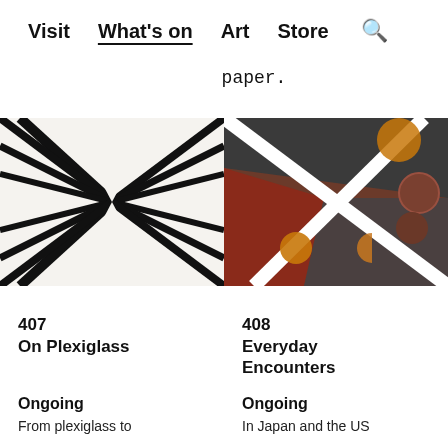Visit  What's on  Art  Store  🔍
paper.
[Figure (photo): Left: Black and white op-art print showing radiating converging lines forming an hourglass or bowtie shape on white background. Right: Colorful abstract artwork with white X-shaped lines over dark background with orange, brown, and grey circular and crescent shapes.]
407
On Plexiglass
408
Everyday Encounters
Ongoing
Ongoing
From plexiglass to
In Japan and the US